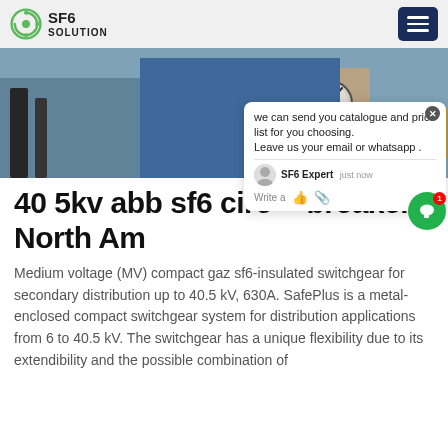SF6 SOLUTION
[Figure (photo): Photo of an engineer in blue jacket working near electrical switchgear equipment with a pressure gauge visible]
40 5kv abb sf6 circuit breaker North America
Medium voltage (MV) compact gaz sf6-insulated switchgear for secondary distribution up to 40.5 kV, 630A. SafePlus is a metal-enclosed compact switchgear system for distribution applications from 6 to 40.5 kV. The switchgear has a unique flexibility due to its extendibility and the possible combination of full and plug-in circuit-breaker configurations.